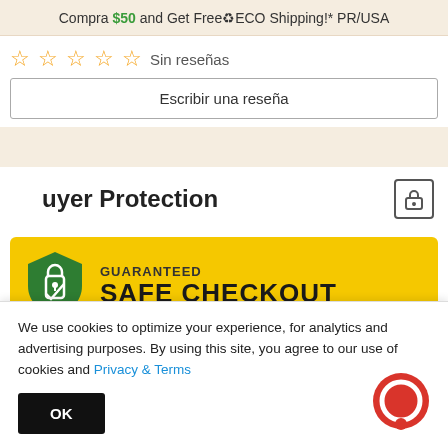Compra $50 and Get Free♻ECO Shipping!* PR/USA
☆☆☆☆☆  Sin reseñas
Escribir una reseña
uyer Protection
[Figure (infographic): Guaranteed Safe Checkout banner with green shield/lock icon on yellow background]
We use cookies to optimize your experience, for analytics and advertising purposes. By using this site, you agree to our use of cookies and Privacy & Terms
OK